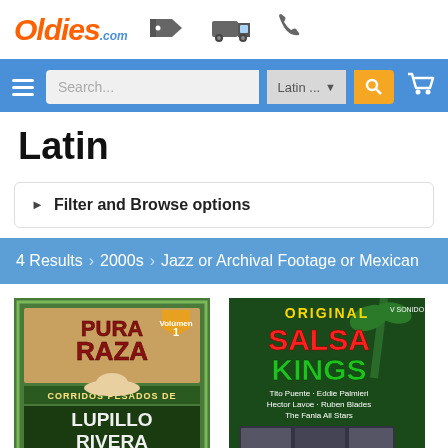Oldies.com — Latin music store header with logo, search bar, navigation
Latin
▶  Filter and Browse options
4 Results > 2000s > Jazz or Archival Footage or Mexican
[Figure (photo): Album cover: Pura Raza Vol. 1 - Corridos Pesados de Lupillo Rivera, showing Lupillo Rivera in a cowboy hat]
[Figure (photo): Album cover: Original Salsa Kings featuring Tito Puente, Eddie Palmieri, Hector Lavoe, Ruben Blades, The Fania All Stars]